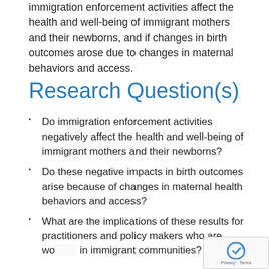immigration enforcement activities affect the health and well-being of immigrant mothers and their newborns, and if changes in birth outcomes arose due to changes in maternal behaviors and access.
Research Question(s)
Do immigration enforcement activities negatively affect the health and well-being of immigrant mothers and their newborns?
Do these negative impacts in birth outcomes arise because of changes in maternal health behaviors and access?
What are the implications of these results for practitioners and policy makers who are working in immigrant communities?